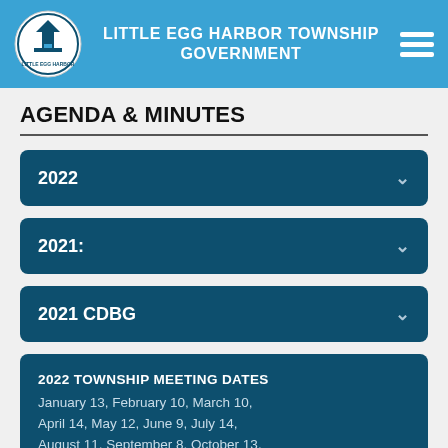LITTLE EGG HARBOR TOWNSHIP GOVERNMENT
AGENDA & MINUTES
2022
2021:
2021 CDBG
2022 TOWNSHIP MEETING DATES
January 13, February 10, March 10, April 14, May 12, June 9, July 14, August 11, September 8, October 13, November 10, December 8